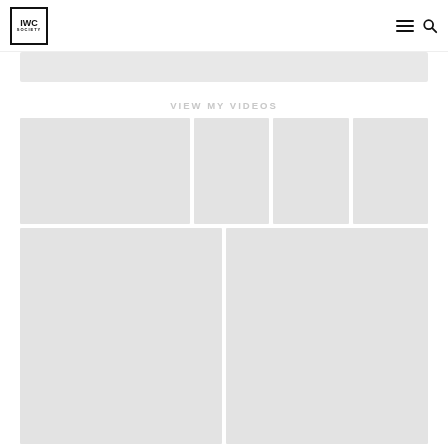IWC Society — navigation header with logo, hamburger menu, and search icon
[Figure (screenshot): Gray banner/loading placeholder below header]
VIEW MY VIDEOS
[Figure (screenshot): Video thumbnail grid: top row has one large thumbnail and three smaller thumbnails; bottom row has two equal-width thumbnails. All are gray placeholder boxes.]